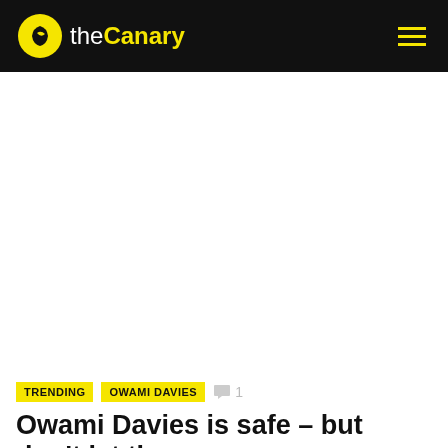the Canary
[Figure (other): Large white/blank image area below the header]
TRENDING  OWAMI DAVIES  💬 1
Owami Davies is safe – but don't let the